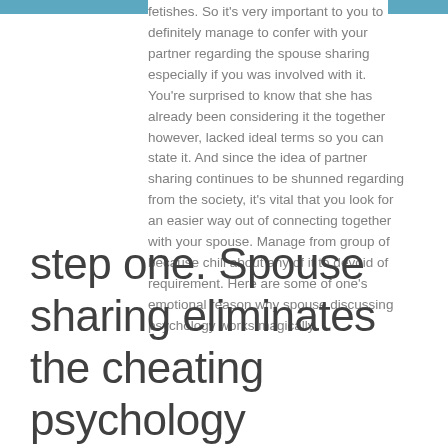fetishes. So it's very important to you to definitely manage to confer with your partner regarding the spouse sharing especially if you was involved with it. You're surprised to know that she has already been considering it the together however, lacked ideal terms so you can state it. And since the idea of partner sharing continues to be shunned regarding from the society, it's vital that you look for an easier way out of connecting together with your spouse. Manage from group of because chill about any of it to devoid of requirement. Here are some of one's emotional reason why spouse discussing psychology works magically.
step one. Spouse sharing eliminates the cheating psychology